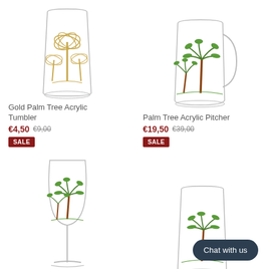[Figure (photo): Gold Palm Tree Acrylic Tumbler - clear glass tumbler with golden palm tree design]
Gold Palm Tree Acrylic Tumbler
€4,50  €9,00  SALE
[Figure (photo): Palm Tree Acrylic Pitcher - clear glass pitcher with green and brown palm tree design]
Palm Tree Acrylic Pitcher
€19,50  €39,00  SALE
[Figure (photo): Palm Tree Acrylic Wine Glass - clear wine glass with green palm tree design]
[Figure (photo): Palm Tree Acrylic Tumbler - clear tumbler with green palm tree design]
Chat with us